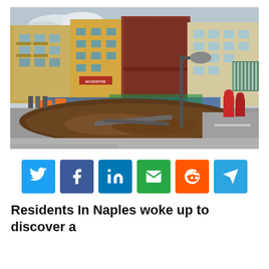[Figure (photo): A large sinkhole in Naples, Italy that has opened up in the middle of a street in front of apartment buildings. Emergency workers in red gear are visible on the right side. Construction fencing, barriers, and a street lamp are visible. The hole has exposed earth beneath the pavement.]
[Figure (infographic): Social media sharing buttons: Twitter (light blue), Facebook (dark blue), LinkedIn (medium blue), Email (green), Reddit (orange-red), Telegram (light blue)]
Residents In Naples woke up to discover a